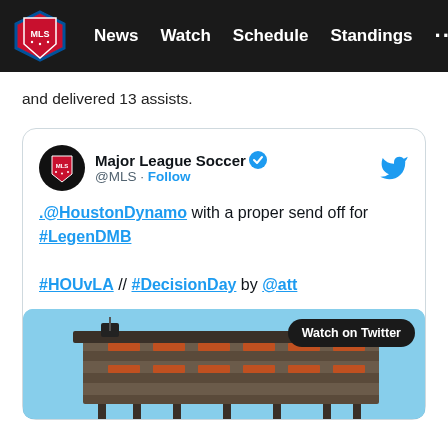MLS — News  Watch  Schedule  Standings  ...
and delivered 13 assists.
[Figure (screenshot): Embedded tweet from Major League Soccer (@MLS) with verified badge. Tweet text: '.@HoustonDynamo with a proper send off for #LegenDMB  #HOUvLA // #DecisionDay by @att'. Includes a photo of a stadium with a 'Watch on Twitter' button overlay. Twitter bird icon in top right.]